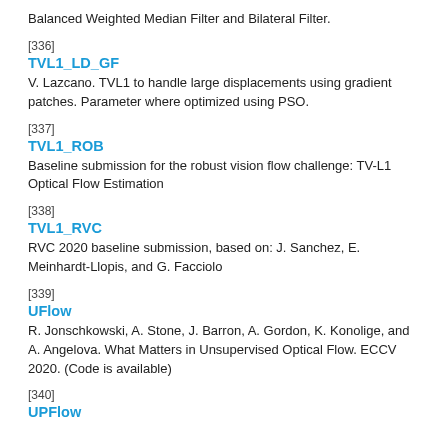Balanced Weighted Median Filter and Bilateral Filter.
[336]
TVL1_LD_GF
V. Lazcano. TVL1 to handle large displacements using gradient patches. Parameter where optimized using PSO.
[337]
TVL1_ROB
Baseline submission for the robust vision flow challenge: TV-L1 Optical Flow Estimation
[338]
TVL1_RVC
RVC 2020 baseline submission, based on: J. Sanchez, E. Meinhardt-Llopis, and G. Facciolo
[339]
UFlow
R. Jonschkowski, A. Stone, J. Barron, A. Gordon, K. Konolige, and A. Angelova. What Matters in Unsupervised Optical Flow. ECCV 2020. (Code is available)
[340]
UPFlow